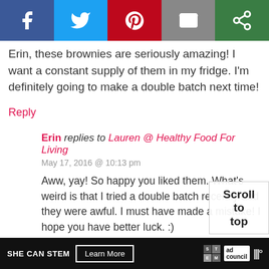[Figure (other): Social share bar with Facebook (blue), Twitter (light blue), Pinterest (red), email (gray), and another share button (green) icons]
Erin, these brownies are seriously amazing! I want a constant supply of them in my fridge. I'm definitely going to make a double batch next time!
Reply
Erin replies to Lauren @ Healthy Food For Living
May 17, 2016 @ 10:13 pm
Aww, yay! So happy you liked them. What's weird is that I tried a double batch recently and they were awful. I must have made a mistake! I hope you have better luck. :)
Reply
Scroll to top
[Figure (other): SHE CAN STEM advertisement footer bar with Learn More button, STEM logo, Ad Council logo, and Moat logo]